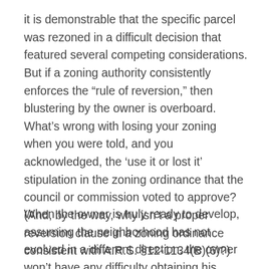it is demonstrable that the specific parcel was rezoned in a difficult decision that featured several competing considerations. But if a zoning authority consistently enforces the “rule of reversion,” then blustering by the owner is overboard. What’s wrong with losing your zoning when you were told, and you acknowledged, the ‘use it or lost it’ stipulation in the zoning ordinance that the council or commission voted to approve? (And, by the way, why isn’t a proper reversion clause in a zoning ordinance consistent with A.R.S. §12-1134(B)(6)?)
When the owner is truly ready to develop, assuming the neighborhood has not evolved in a different direction, the owner won’t have any difficulty obtaining his parcel’s “reinstatement” of